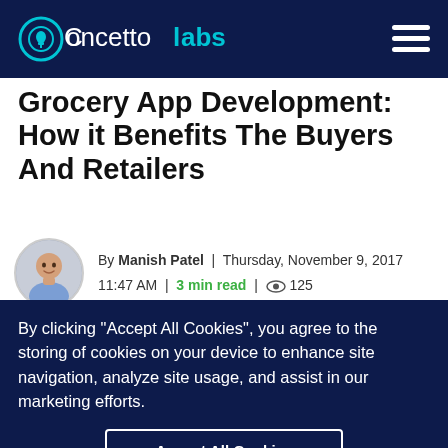Concetto Labs
Grocery App Development: How it Benefits The Buyers And Retailers
By Manish Patel | Thursday, November 9, 2017 11:47 AM | 3 min read | 125
[Figure (photo): Author avatar photo of Manish Patel]
[Figure (infographic): Grocery App Development: How it benefits the buyers and retailers - partial decorative image with green leaves on sides]
By clicking “Accept All Cookies”, you agree to the storing of cookies on your device to enhance site navigation, analyze site usage, and assist in our marketing efforts.
Accept All Cookies